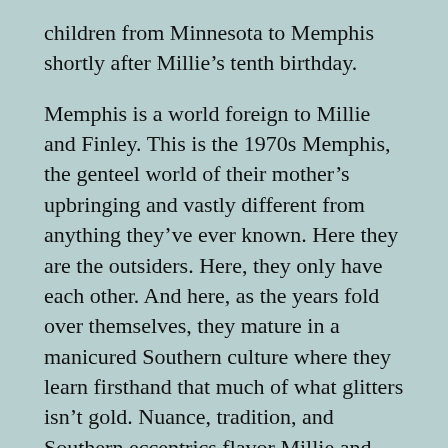children from Minnesota to Memphis shortly after Millie’s tenth birthday.
Memphis is a world foreign to Millie and Finley. This is the 1970s Memphis, the genteel world of their mother’s upbringing and vastly different from anything they’ve ever known. Here they are the outsiders. Here, they only have each other. And here, as the years fold over themselves, they mature in a manicured Southern culture where they learn firsthand that much of what glitters isn’t gold. Nuance, tradition, and Southern eccentrics flavor Millie and Finley’s world as they find their way to belonging.
But what hidden variables take their shared history to leave both brother and sister at such disparate ends?